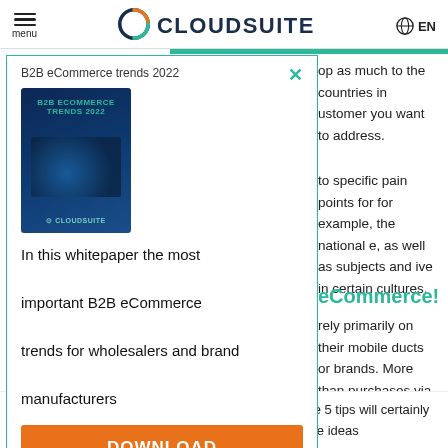menu | CLOUDSUITE | EN
B2B eCommerce trends 2022
[Figure (illustration): Book cover for B2B eCommerce trends 2022 whitepaper with dark blue background and tech imagery]
In this whitepaper the most important B2B eCommerce trends for wholesalers and brand manufacturers
DOWNLOAD
op as much to the countries in ustomer you want to address.
to specific pain points for for example, the national e, as well as subjects and ive in certain cultures.
eCommerce!
rely primarily on their mobile ducts or brands. More than purchases via smartphone. g a wider audience, especially er people.
Do you want to grow beyond our borders? The above 5 tips will certainly help you with this! Feel free to contact us to exchange ideas